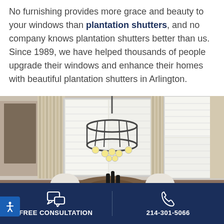No furnishing provides more grace and beauty to your windows than plantation shutters, and no company knows plantation shutters better than us. Since 1989, we have helped thousands of people upgrade their windows and enhance their homes with beautiful plantation shutters in Arlington.
[Figure (photo): Interior dining room with white plantation shutters on windows, decorative curtains, round dining table with white upholstered chairs, and a modern chandelier with globe lights hanging from the ceiling.]
FREE CONSULTATION
214-301-5066